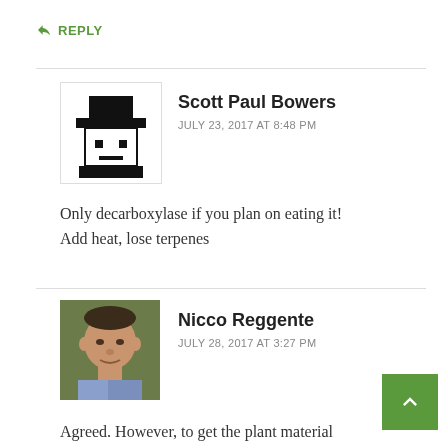↩ REPLY
Scott Paul Bowers
JULY 23, 2017 AT 8:48 PM
Only decarboxylase if you plan on eating it! Add heat, lose terpenes
↩ REPLY
Nicco Reggente
JULY 28, 2017 AT 3:27 PM
Agreed. However, to get the plant material concentrate form for THC E Juice, you're g to need some form of extraction process.